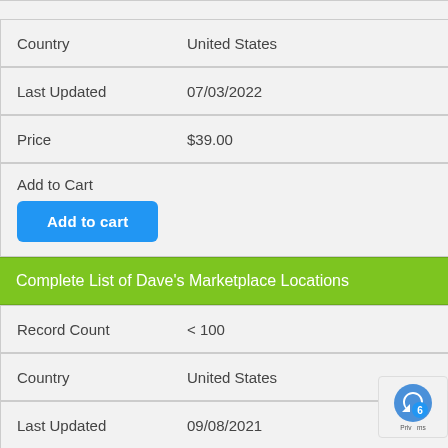| Field | Value |
| --- | --- |
| Country | United States |
| Last Updated | 07/03/2022 |
| Price | $39.00 |
| Add to Cart | [Add to cart button] |
Complete List of Dave's Marketplace Locations
| Field | Value |
| --- | --- |
| Record Count | < 100 |
| Country | United States |
| Last Updated | 09/08/2021 |
| Price | $59.00 |